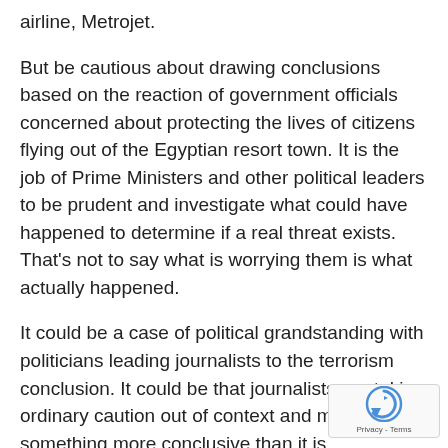airline, Metrojet.
But be cautious about drawing conclusions based on the reaction of government officials concerned about protecting the lives of citizens flying out of the Egyptian resort town. It is the job of Prime Ministers and other political leaders to be prudent and investigate what could have happened to determine if a real threat exists. That’s not to say what is worrying them is what actually happened.
It could be a case of political grandstanding with politicians leading journalists to the terrorism conclusion. It could be that journalists are taking ordinary caution out of context and making it something more conclusive than it is.
[Figure (other): reCAPTCHA badge with rotating arrow icon and Privacy - Terms text]